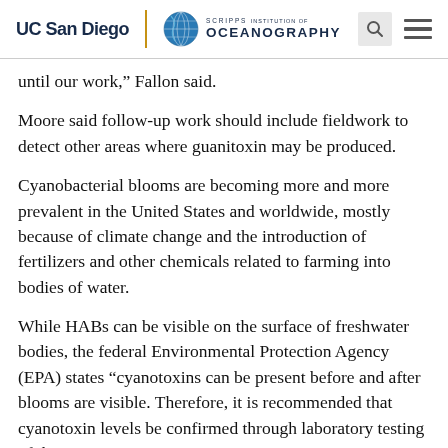UC San Diego | Scripps Institution of Oceanography
until our work," Fallon said.
Moore said follow-up work should include fieldwork to detect other areas where guanitoxin may be produced.
Cyanobacterial blooms are becoming more and more prevalent in the United States and worldwide, mostly because of climate change and the introduction of fertilizers and other chemicals related to farming into bodies of water.
While HABs can be visible on the surface of freshwater bodies, the federal Environmental Protection Agency (EPA) states “cyanotoxins can be present before and after blooms are visible. Therefore, it is recommended that cyanotoxin levels be confirmed through laboratory testing of the water."